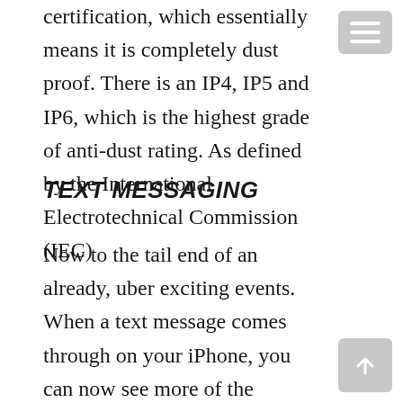certification, which essentially means it is completely dust proof. There is an IP4, IP5 and IP6, which is the highest grade of anti-dust rating. As defined by the International Electrotechnical Commission (IEC)
TEXT MESSAGING
Now to the tail end of an already, uber exciting events. When a text message comes through on your iPhone, you can now see more of the message on your wrist. Perhaps because of the size increase of the Apple Watch Series 7, but they also said they've adjusted the word count in the firmware.